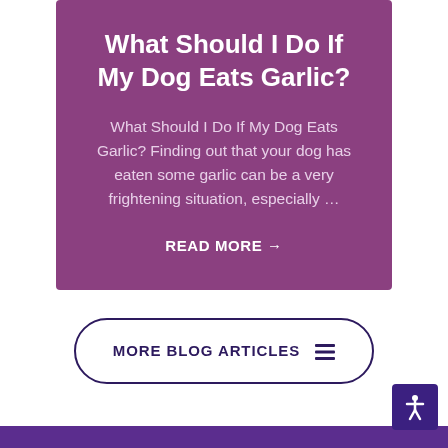What Should I Do If My Dog Eats Garlic?
What Should I Do If My Dog Eats Garlic? Finding out that your dog has eaten some garlic can be a very frightening situation, especially …
READ MORE →
MORE BLOG ARTICLES